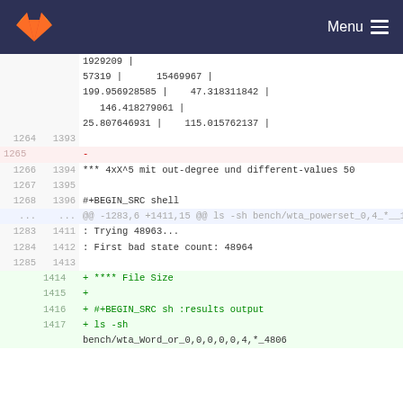GitLab — Menu
| old_ln | new_ln | code |
| --- | --- | --- |
|  |  | 1929209 | |
|  |  | 57319 |      15469967 | |
|  |  | 199.956928585 |   47.318311842 | |
|  |  |    146.418279061 | |
|  |  | 25.807646931 |   115.015762137 | |
| 1264 | 1393 |  |
| 1265 |  | - |
| 1266 | 1394 | *** 4xX^5 mit out-degree und different-values 50 |
| 1267 | 1395 |  |
| 1268 | 1396 | #+BEGIN_SRC shell |
| ... | ... | @@ -1283,6 +1411,15 @@ ls -sh bench/wta_powerset_0,4_*__14281* |
| 1283 | 1411 | : Trying 48963... |
| 1284 | 1412 | : First bad state count: 48964 |
| 1285 | 1413 |  |
|  | 1414 | + **** File Size |
|  | 1415 | + |
|  | 1416 | + #+BEGIN_SRC sh :results output |
|  | 1417 | + ls -sh |
|  |  | bench/wta_Word_or_0,0,0,0,0,4,*_4806 |